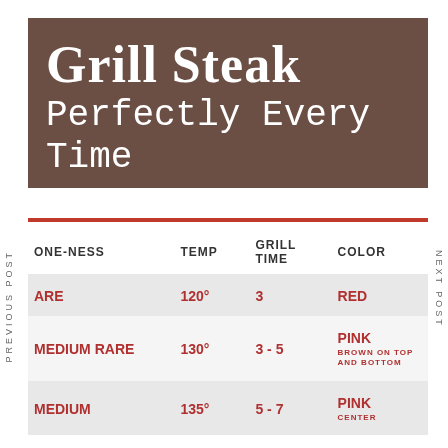Grill Steak Perfectly Every Time
| DONE-NESS | TEMP | GRILL TIME | COLOR |
| --- | --- | --- | --- |
| RARE | 120° | 3 | RED |
| MEDIUM RARE | 130° | 3 - 5 | PINK BROWN ON TOP AND BOTTOM |
| MEDIUM | 135° | 5 - 7 | PINK CENTER |